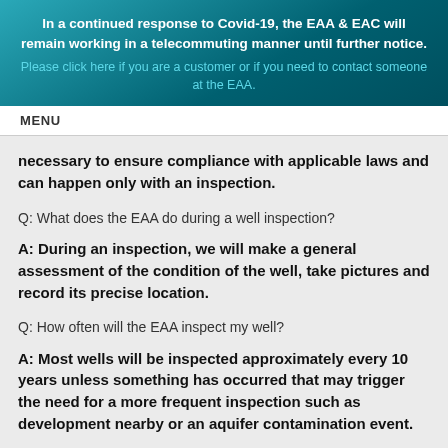In a continued response to Covid-19, the EAA & EAC will remain working in a telecommuting manner until further notice. Please click here if you are a customer or if you need to contact someone at the EAA.
MENU
necessary to ensure compliance with applicable laws and can happen only with an inspection.
Q: What does the EAA do during a well inspection?
A: During an inspection, we will make a general assessment of the condition of the well, take pictures and record its precise location.
Q: How often will the EAA inspect my well?
A: Most wells will be inspected approximately every 10 years unless something has occurred that may trigger the need for a more frequent inspection such as development nearby or an aquifer contamination event.
Q: Is the inspection mandatory?